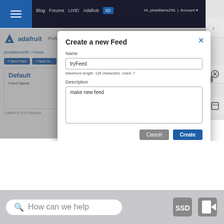[Figure (screenshot): Screenshot of Adafruit IO web interface showing a 'Create a new Feed' modal dialog. The modal has a Name field with 'tryFeed' entered, a hint 'Maximum length: 128 characters. Used: 7', a Description field with 'make new feed' entered, and Cancel/Create buttons. The background shows the Adafruit IO dashboard with navigation bar, Default feed group, and breadcrumb navigation.]
How can we help